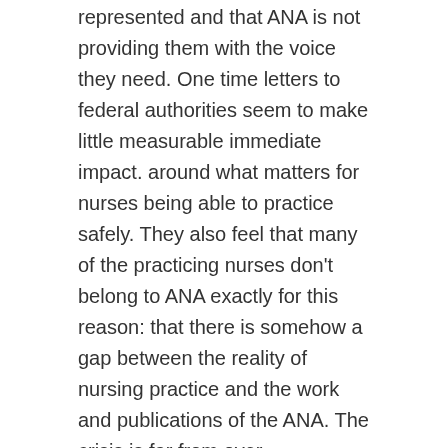represented and that ANA is not providing them with the voice they need. One time letters to federal authorities seem to make little measurable immediate impact. around what matters for nurses being able to practice safely. They also feel that many of the practicing nurses don't belong to ANA exactly for this reason: that there is somehow a gap between the reality of nursing practice and the work and publications of the ANA. The crisis is far from over.
May all nurses and all beings know some peace and ease.
Share this: